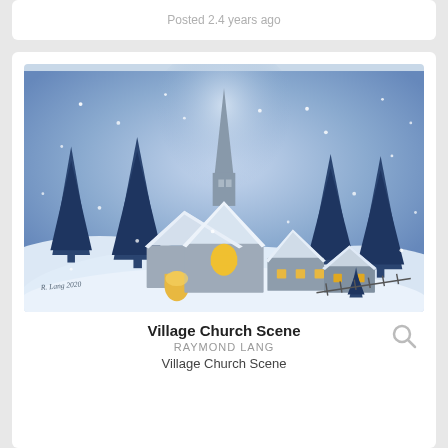Posted 2.4 years ago
[Figure (illustration): Winter village church scene painting: a snow-covered stone church with tall spire surrounded by dark blue evergreen trees, warm yellow glowing windows, falling snow, snowy hills, signed 'R. Lang 2020']
Village Church Scene
RAYMOND LANG
Village Church Scene